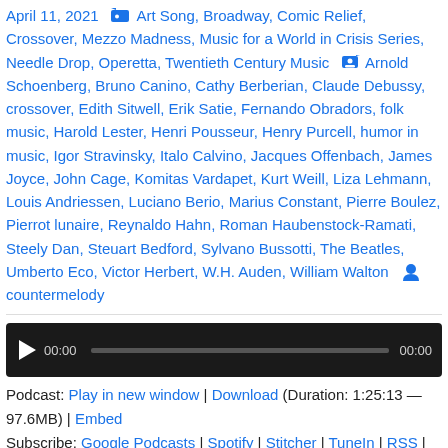April 11, 2021 — Art Song, Broadway, Comic Relief, Crossover, Mezzo Madness, Music for a World in Crisis Series, Needle Drop, Operetta, Twentieth Century Music 🏷 Arnold Schoenberg, Bruno Canino, Cathy Berberian, Claude Debussy, crossover, Edith Sitwell, Erik Satie, Fernando Obradors, folk music, Harold Lester, Henri Pousseur, Henry Purcell, humor in music, Igor Stravinsky, Italo Calvino, Jacques Offenbach, James Joyce, John Cage, Komitas Vardapet, Kurt Weill, Liza Lehmann, Louis Andriessen, Luciano Berio, Marius Constant, Pierre Boulez, Pierrot lunaire, Reynaldo Hahn, Roman Haubenstock-Ramati, Steely Dan, Steuart Bedford, Sylvano Bussotti, The Beatles, Umberto Eco, Victor Herbert, W.H. Auden, William Walton 👤 countermelody
[Figure (other): Audio player with play button, 00:00 timestamp, progress bar, and 00:00 end timestamp on dark background]
Podcast: Play in new window | Download (Duration: 1:25:13 — 97.6MB) | Embed
Subscribe: Google Podcasts | Spotify | Stitcher | TuneIn | RSS | More